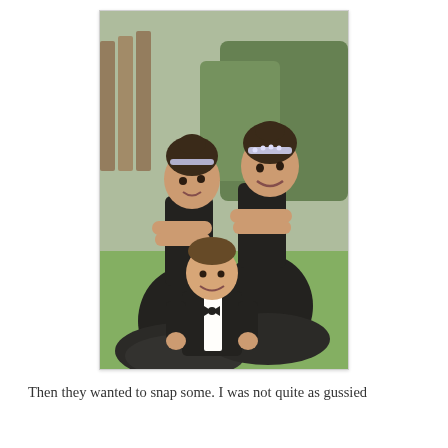[Figure (photo): Three children posing outdoors on green grass with shrubs in background. Two girls wearing black ballet tutus and sparkly headbands stand back-to-back with arms crossed, smiling. A young boy in a black tuxedo with bow tie crouches/sits in front, also smiling.]
Then they wanted to snap some. I was not quite as gussied